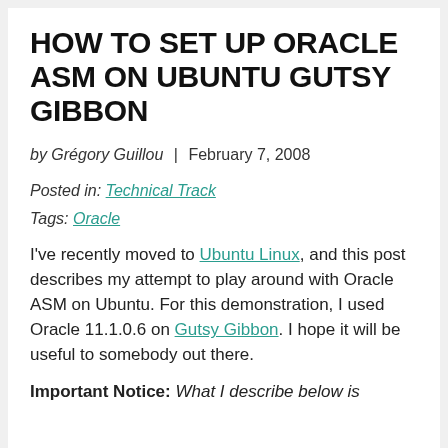HOW TO SET UP ORACLE ASM ON UBUNTU GUTSY GIBBON
by Grégory Guillou  |  February 7, 2008
Posted in: Technical Track
Tags: Oracle
I've recently moved to Ubuntu Linux, and this post describes my attempt to play around with Oracle ASM on Ubuntu. For this demonstration, I used Oracle 11.1.0.6 on Gutsy Gibbon. I hope it will be useful to somebody out there.
Important Notice: What I describe below is